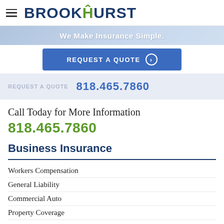[Figure (logo): Brookhurst Insurance logo with hamburger menu icon on the left and bold navy blue 'BROOKHURST' text with a green figure in the H]
[Figure (screenshot): Hero banner with text 'We Make Insurance Simple']
REQUEST A QUOTE ❯
REQUEST A QUOTE  818.465.7860
Call Today for More Information
818.465.7860
Business Insurance
Workers Compensation
General Liability
Commercial Auto
Property Coverage
Risk Management